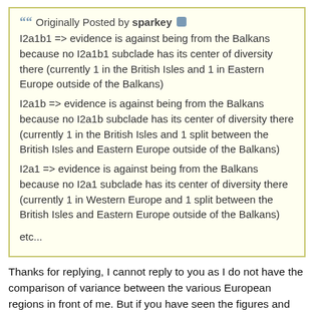Originally Posted by sparkey
I2a1b1 => evidence is against being from the Balkans because no I2a1b1 subclade has its center of diversity there (currently 1 in the British Isles and 1 in Eastern Europe outside of the Balkans)
I2a1b => evidence is against being from the Balkans because no I2a1b subclade has its center of diversity there (currently 1 in the British Isles and 1 split between the British Isles and Eastern Europe outside of the Balkans)
I2a1 => evidence is against being from the Balkans because no I2a1 subclade has its center of diversity there (currently 1 in Western Europe and 1 split between the British Isles and Eastern Europe outside of the Balkans)

etc...
Thanks for replying, I cannot reply to you as I do not have the comparison of variance between the various European regions in front of me. But if you have seen the figures and the variance within the Balkans is comparatively lower then why not place a reference to the figures here so that people can make an informed opinion? After all you are the one who asked the question and now claim to have STR